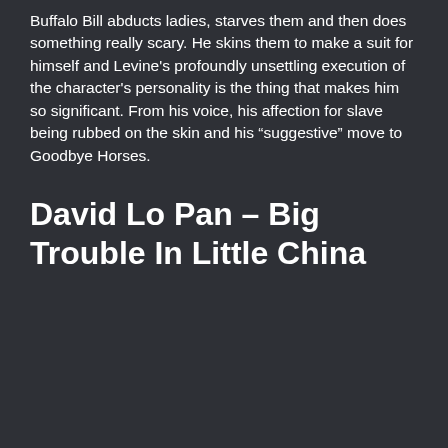Buffalo Bill abducts ladies, starves them and then does something really scary. He skins them to make a suit for himself and Levine’s profoundly unsettling execution of the character’s personality is the thing that makes him so significant. From his voice, his affection for slave being rubbed on the skin and his “suggestive” move to Goodbye Horses.
David Lo Pan – Big Trouble In Little China